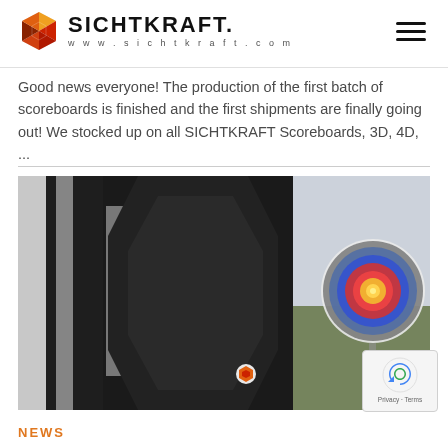SICHTKRAFT www.sichtkraft.com
Good news everyone! The production of the first batch of scoreboards is finished and the first shipments are finally going out! We stocked up on all SICHTKRAFT Scoreboards, 3D, 4D, ...
[Figure (photo): Close-up photo of a dark textured SICHTKRAFT scoreboard panel with hexagonal pattern and silver accents. The SICHTKRAFT brand name is visible on the board. In the blurred background, an archery target with concentric colored circles (blue, red, yellow) is visible on an outdoor range.]
NEWS